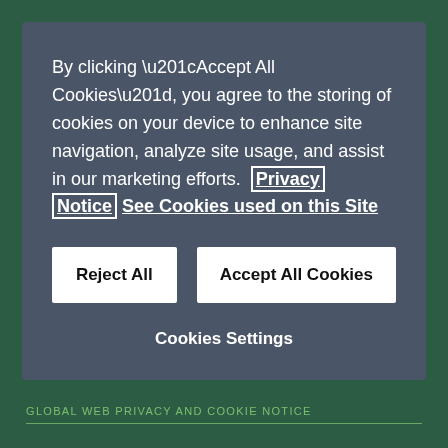By clicking “Accept All Cookies”, you agree to the storing of cookies on your device to enhance site navigation, analyze site usage, and assist in our marketing efforts. Privacy Notice See Cookies used on this Site
Reject All
Accept All Cookies
Cookies Settings
GLOBAL WEB PRIVACY AND COOKIE NOTICE